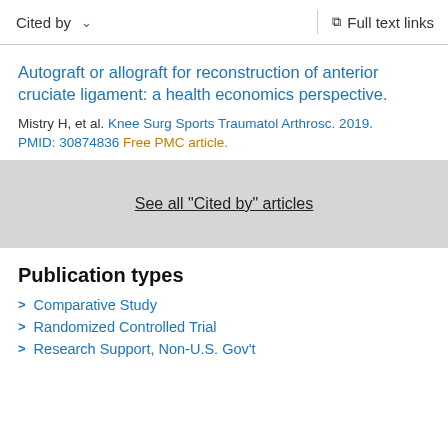Cited by   Full text links
Autograft or allograft for reconstruction of anterior cruciate ligament: a health economics perspective.
Mistry H, et al. Knee Surg Sports Traumatol Arthrosc. 2019.
PMID: 30874836 Free PMC article.
See all "Cited by" articles
Publication types
Comparative Study
Randomized Controlled Trial
Research Support, Non-U.S. Gov't